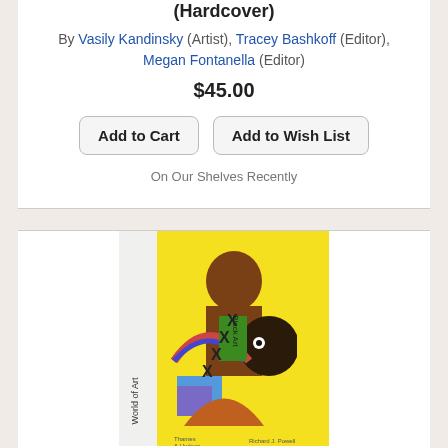... Kandinsky: Around the Circle (Hardcover)
By Vasily Kandinsky (Artist), Tracey Bashkoff (Editor), Megan Fontanella (Editor)
$45.00
Add to Cart
Add to Wish List
On Our Shelves Recently
[Figure (photo): Book cover of Black Art: A Cultural History (World of Art) by Richard J. Powell. Colorful illustrated cover showing stylized figures with X marks, yellow background, published by Thames & Hudson.]
Black Art: A Cultural History (World of Art) (Paperback)
By Richard J. Powell
$29.95